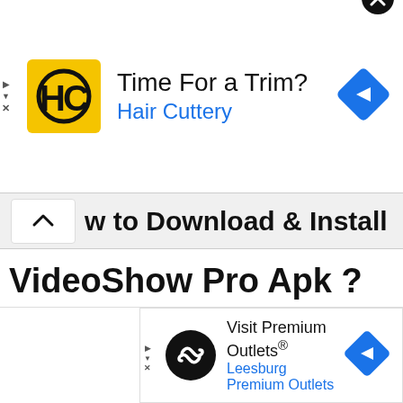[Figure (screenshot): Hair Cuttery advertisement banner with yellow/black HC logo, text 'Time For a Trim?' and 'Hair Cuttery' in blue, navigation diamond icon on right]
w to Download & Install VideoShow Pro Apk ?
[Figure (screenshot): Premium Outlets advertisement banner with black circular logo, text 'Visit Premium Outlets®' and 'Leesburg Premium Outlets' in blue, navigation diamond icon on right, close button (X) at top right]